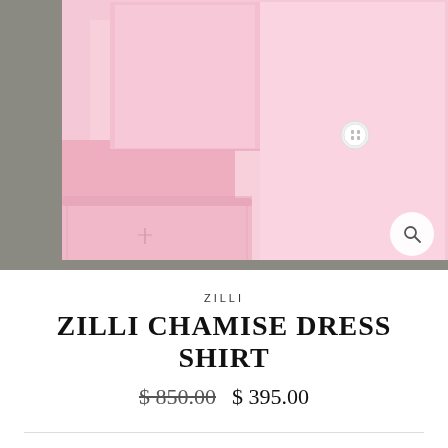[Figure (photo): Folded pink dress shirt on gray background, showing cuff with white button, top-down product photography]
ZILLI
ZILLI CHAMISE DRESS SHIRT
$ 850.00  $ 395.00
SIZE